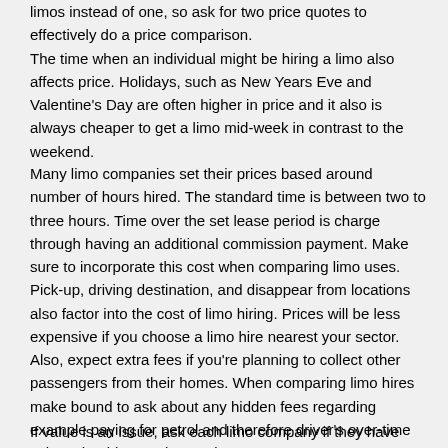limos instead of one, so ask for two price quotes to effectively do a price comparison. The time when an individual might be hiring a limo also affects price. Holidays, such as New Years Eve and Valentine's Day are often higher in price and it also is always cheaper to get a limo mid-week in contrast to the weekend.
Many limo companies set their prices based around number of hours hired. The standard time is between two to three hours. Time over the set lease period is charge through having an additional commission payment. Make sure to incorporate this cost when comparing limo uses. Pick-up, driving destination, and disappear from locations also factor into the cost of limo hiring. Prices will be less expensive if you choose a limo hire nearest your sector. Also, expect extra fees if you're planning to collect other passengers from their homes. When comparing limo hires make bound to ask about any hidden fees regarding example paying for petrol and therefore driver's over-time salary should your trip runs late.
If value is an issue, ask each limo company if they have older limousines